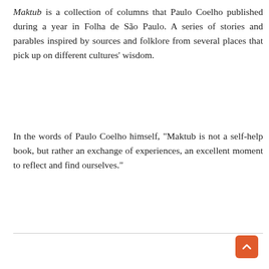Maktub is a collection of columns that Paulo Coelho published during a year in Folha de São Paulo. A series of stories and parables inspired by sources and folklore from several places that pick up on different cultures' wisdom.
In the words of Paulo Coelho himself, "Maktub is not a self-help book, but rather an exchange of experiences, an excellent moment to reflect and find ourselves."
[Figure (illustration): Book cover of a Paulo Coelho book titled 'Na brehu Ria Piedra som si sadla a plakala' with an orange/red background, showing the author's name 'Paulo Coelho' in large bold text, and a subtitle below. A scroll-to-top button (orange rounded square with upward arrow) is in the bottom right corner.]